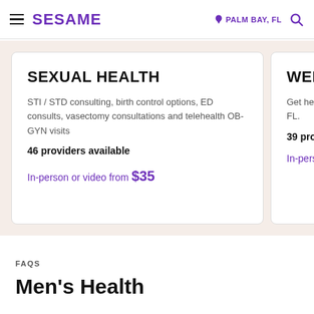SESAME | PALM BAY, FL
SEXUAL HEALTH
STI / STD consulting, birth control options, ED consults, vasectomy consultations and telehealth OB-GYN visits
46 providers available
In-person or video from $35
WEIGHT
Get help wi... FL.
39 provide...
In-person...
FAQS
Men's Health